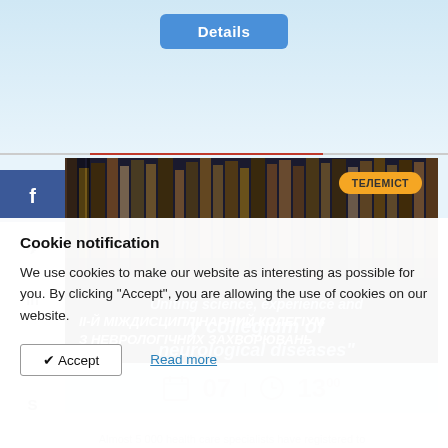[Figure (screenshot): Details button at top of webpage with blue background]
[Figure (photo): Banner image for II-й МІЖДИСЦИПЛІНАРНИЙ КОЛЕГІУМ З НЕВРОЛОГІЧНИХ ЗАХВОРЮВАНЬ event with ТЕЛЕМІСТ badge, showing bookshelf background with event details overlay]
Cookie notification
We use cookies to make our website as interesting as possible for you. By clicking "Accept", you are allowing the use of cookies on our website.
Accept
Read more
Almost 5 000 health care specialists have registered to